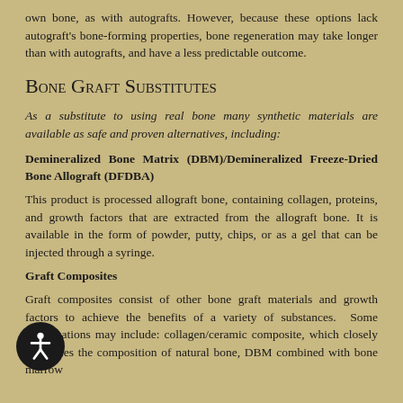own bone, as with autografts. However, because these options lack autograft's bone-forming properties, bone regeneration may take longer than with autografts, and have a less predictable outcome.
Bone Graft Substitutes
As a substitute to using real bone many synthetic materials are available as safe and proven alternatives, including:
Demineralized Bone Matrix (DBM)/Demineralized Freeze-Dried Bone Allograft (DFDBA)
This product is processed allograft bone, containing collagen, proteins, and growth factors that are extracted from the allograft bone. It is available in the form of powder, putty, chips, or as a gel that can be injected through a syringe.
Graft Composites
Graft composites consist of other bone graft materials and growth factors to achieve the benefits of a variety of substances. Some combinations may include: collagen/ceramic composite, which closely resembles the composition of natural bone, DBM combined with bone marrow